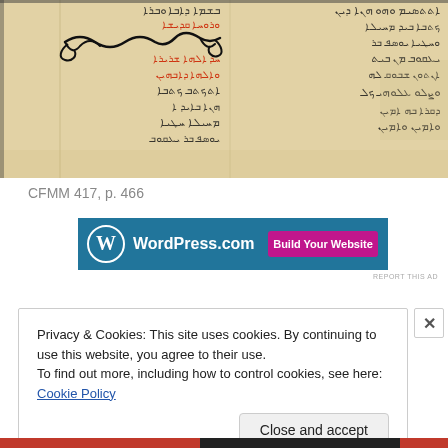[Figure (photo): Photograph of a manuscript page (CFMM 417, p. 466) showing Arabic/Syriac script in black and red ink on aged parchment, with decorative flourish border.]
CFMM 417, p. 466
[Figure (screenshot): WordPress.com advertisement banner with text 'WordPress.com' and 'Build Your Website' button.]
REPORT THIS AD
Privacy & Cookies: This site uses cookies. By continuing to use this website, you agree to their use.
To find out more, including how to control cookies, see here: Cookie Policy
Close and accept